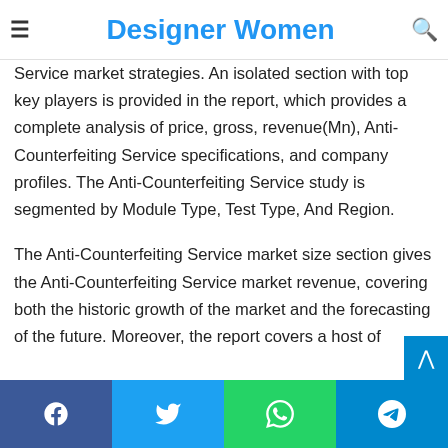Designer Women
planning adopted by them. This helps the buyer of the Anti-Counterfeiting Service market to get a clear view of the competitive landscape and accordingly plan Anti-Counterfeiting Service market strategies. An isolated section with top key players is provided in the report, which provides a complete analysis of price, gross, revenue(Mn), Anti-Counterfeiting Service specifications, and company profiles. The Anti-Counterfeiting Service study is segmented by Module Type, Test Type, And Region.
The Anti-Counterfeiting Service market size section gives the Anti-Counterfeiting Service market revenue, covering both the historic growth of the market and the forecasting of the future. Moreover, the report covers a host of company profiles, who are making a mark in the industry or have the potential to do so. The profiling of the players includes their market size, key
Facebook  Twitter  WhatsApp  Telegram